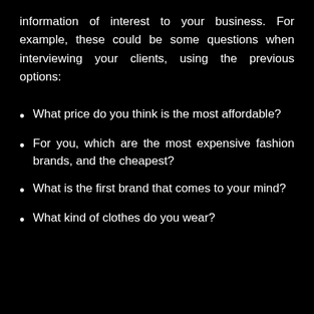information of interest to your business. For example, these could be some questions when interviewing your clients, using the previous options:
What price do you think is the most affordable?
For you, which are the most expensive fashion brands, and the cheapest?
What is the first brand that comes to your mind?
What kind of clothes do you wear?